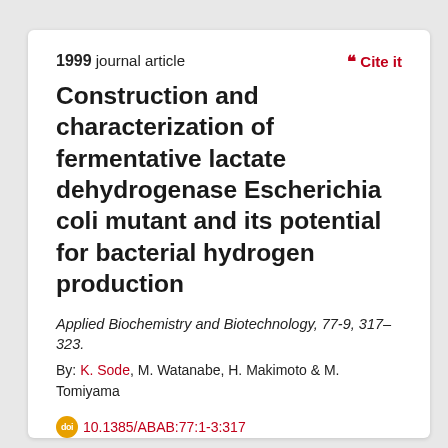1999 journal article
Cite it
Construction and characterization of fermentative lactate dehydrogenase Escherichia coli mutant and its potential for bacterial hydrogen production
Applied Biochemistry and Biotechnology, 77-9, 317–323.
By: K. Sode, M. Watanabe, H. Makimoto & M. Tomiyama
10.1385/ABAB:77:1-3:317